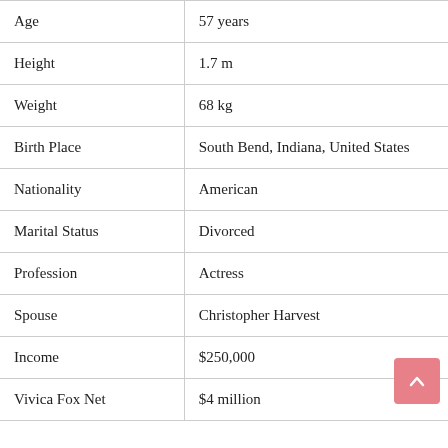| Field | Value |
| --- | --- |
| Age | 57 years |
| Height | 1.7 m |
| Weight | 68 kg |
| Birth Place | South Bend, Indiana, United States |
| Nationality | American |
| Marital Status | Divorced |
| Profession | Actress |
| Spouse | Christopher Harvest |
| Income | $250,000 |
| Vivica Fox Net | $4 million |